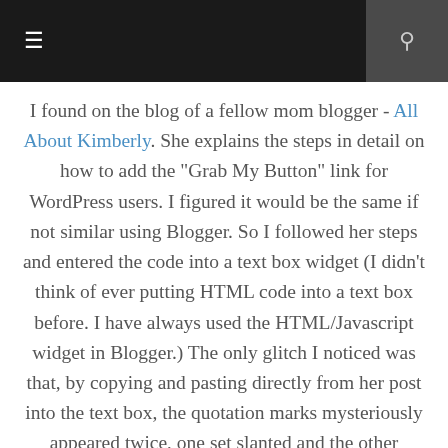☰  🔍
I found on the blog of a fellow mom blogger - All About Kimberly. She explains the steps in detail on how to add the "Grab My Button" link for WordPress users. I figured it would be the same if not similar using Blogger. So I followed her steps and entered the code into a text box widget (I didn't think of ever putting HTML code into a text box before. I have always used the HTML/Javascript widget in Blogger.) The only glitch I noticed was that, by copying and pasting directly from her post into the text box, the quotation marks mysteriously appeared twice, one set slanted and the other vertical. I didn't think to read all the way to the end of her post that